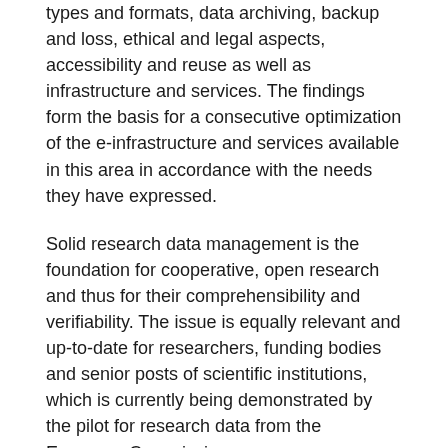types and formats, data archiving, backup and loss, ethical and legal aspects, accessibility and reuse as well as infrastructure and services. The findings form the basis for a consecutive optimization of the e-infrastructure and services available in this area in accordance with the needs they have expressed.
Solid research data management is the foundation for cooperative, open research and thus for their comprehensibility and verifiability. The issue is equally relevant and up-to-date for researchers, funding bodies and senior posts of scientific institutions, which is currently being demonstrated by the pilot for research data from the European Commission.
The lecture provides insight into the planning, implementation and evaluation of this ambitious undertaking and presents the main results that will have an impact at national level. For the first time, the status quo of domestic data management is being presented in a manner that represents all disciplines. Organizational, structural and strategic measures for the development of e-